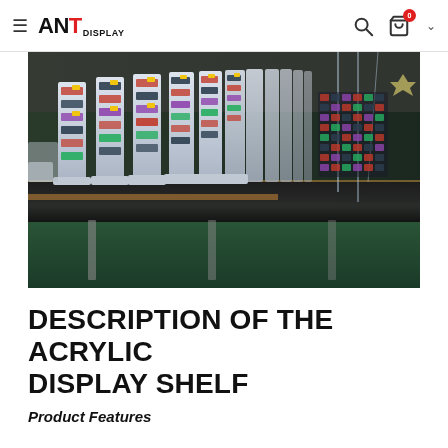ANT DISPLAY — navigation header with search and cart icons
[Figure (photo): Interior photo of a retail/warehouse space with rows of acrylic display shelves stocked with small packaged products. The shelves are arranged in parallel rows extending into the background, with a reflective dark table surface in the foreground. Industrial ceiling with lighting visible.]
DESCRIPTION OF THE ACRYLIC DISPLAY SHELF
Product Features